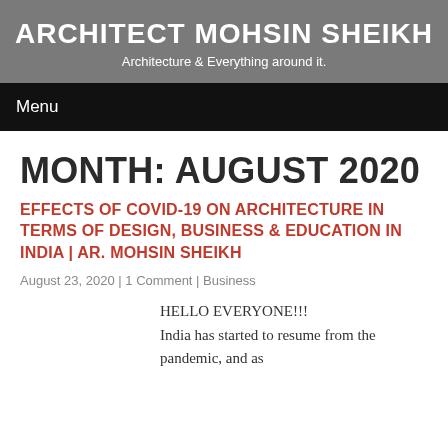ARCHITECT MOHSIN SHEIKH
Architecture & Everything around it.
Menu
MONTH: AUGUST 2020
EFFECTS OF COVID-19 ON ARCHITECTURE IN TERMS OF DESIGN, BUSINESS & EDUCATION IN INDIA | AR. MOHSIN SHEIKH
August 23, 2020 | 1 Comment | Business
HELLO EVERYONE!!! India has started to resume from the pandemic, and as